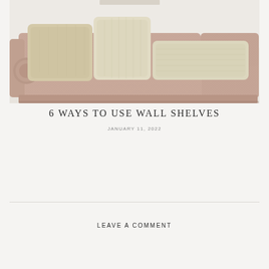[Figure (photo): A pink/dusty rose upholstered sectional sofa with multiple cream and beige throw pillows of various sizes, including a round bolster pillow. The sofa has a textured woven fabric and is photographed against a white/cream wall.]
6 WAYS TO USE WALL SHELVES
JANUARY 11, 2022
LEAVE A COMMENT